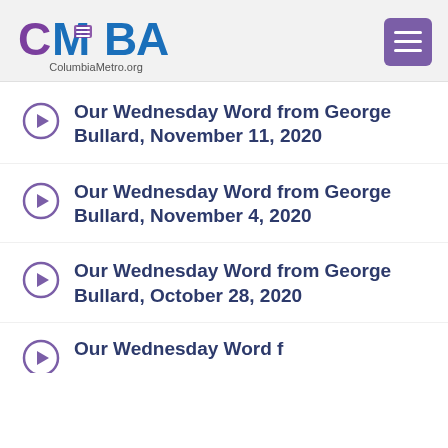CMBA ColumbiaMetro.org
Our Wednesday Word from George Bullard, November 11, 2020
Our Wednesday Word from George Bullard, November 4, 2020
Our Wednesday Word from George Bullard, October 28, 2020
Our Wednesday Word from...